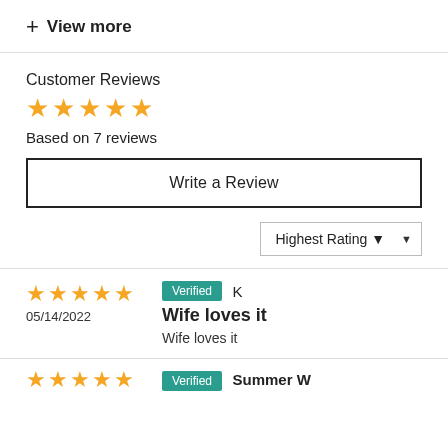+ View more
Customer Reviews
[Figure (other): 5 yellow stars rating display]
Based on 7 reviews
Write a Review
Highest Rating ▼
[Figure (other): 5 yellow stars for review dated 05/14/2022]
05/14/2022
Verified  K
Wife loves it
Wife loves it
[Figure (other): 5 yellow stars for second review]
Verified  Summer W